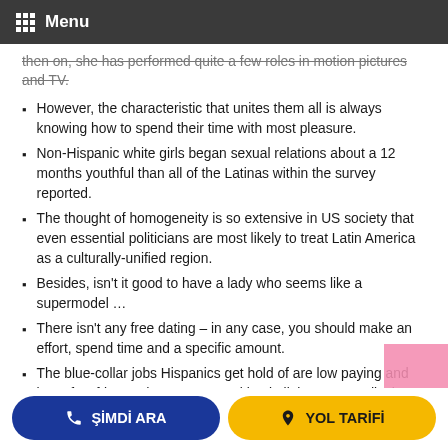Menu
then on, she has performed quite a few roles in motion pictures and TV.
However, the characteristic that unites them all is always knowing how to spend their time with most pleasure.
Non-Hispanic white girls began sexual relations about a 12 months youthful than all of the Latinas within the survey reported.
The thought of homogeneity is so extensive in US society that even essential politicians are most likely to treat Latin America as a culturally-unified region.
Besides, isn't it good to have a lady who seems like a supermodel …
There isn't any free dating – in any case, you should make an effort, spend time and a specific amount.
The blue-collar jobs Hispanics get hold of are low paying and have few fringe advantages, resulting in little or no medical insurance coverage.
You will hardly see a Latin lady dressed casually strolling outdoors without applying makeup.
Not only are they a deal with to have a look at, however you'll find a way to